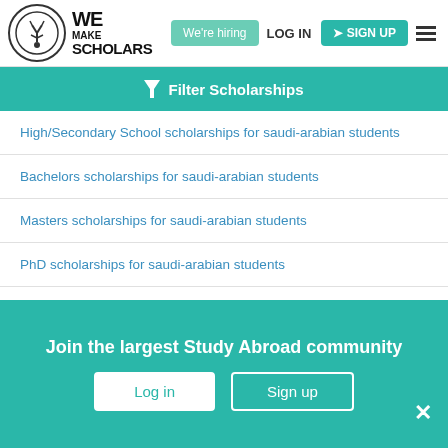[Figure (logo): We Make Scholars logo with circle icon and text]
We're hiring | LOG IN | SIGN UP
Filter Scholarships
High/Secondary School scholarships for saudi-arabian students
Bachelors scholarships for saudi-arabian students
Masters scholarships for saudi-arabian students
PhD scholarships for saudi-arabian students
Post Doc scholarships for saudi-arabian students
Diploma scholarships for saudi-arabian students
Join the largest Study Abroad community
Log in | Sign up